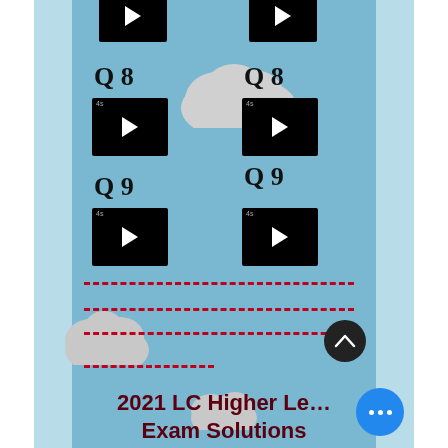[Figure (screenshot): Video thumbnail for Q8 left column (top row, partially cropped)]
[Figure (screenshot): Video thumbnail for Q8 right column (top row, partially cropped)]
Q 8
Q 8
[Figure (screenshot): Video thumbnail for Q8 left column]
[Figure (screenshot): Video thumbnail for Q8 right column]
Q 9
Q 9
[Figure (screenshot): Video thumbnail for Q9 left column]
[Figure (screenshot): Video thumbnail for Q9 right column]
[Figure (illustration): Decorative cloud shapes on sky-blue background with red dashed lines separator rows and scroll-up and more buttons]
2021 LC Higher Le… Exam Solutions